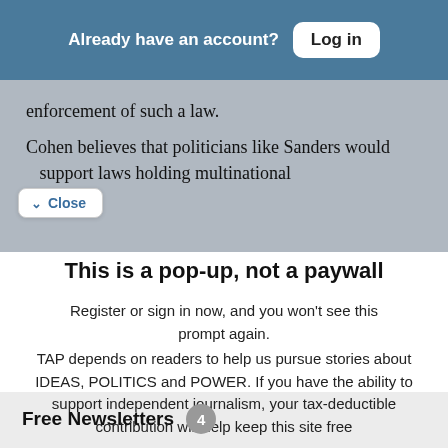Already have an account? Log in
enforcement of such a law.
Cohen believes that politicians like Sanders would support laws holding multinational
This is a pop-up, not a paywall
Register or sign in now, and you won't see this prompt again.
TAP depends on readers to help us pursue stories about IDEAS, POLITICS and POWER. If you have the ability to support independent journalism, your tax-deductible contribution will help keep this site free
Free Newsletters 4